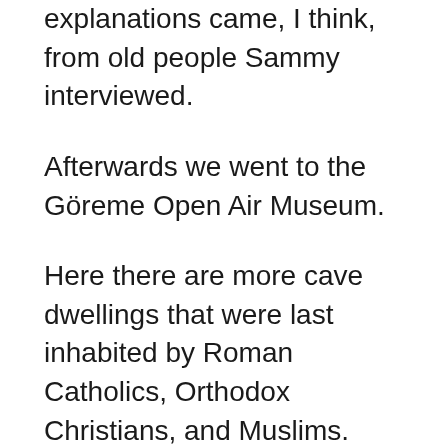explanations came, I think, from old people Sammy interviewed.
Afterwards we went to the Göreme Open Air Museum.
Here there are more cave dwellings that were last inhabited by Roman Catholics, Orthodox Christians, and Muslims.  They lived peacefully together in different sections.  Residences and the different sections of the city were connected by tunnels.  Standing in what was a kitchen, Sammy pointed out that there was no chimney.  Where did the smoke go?  I guessed correctly that it just went into the ceiling.  The material is porous.  Therefore, the smoke collected along the ceiling and